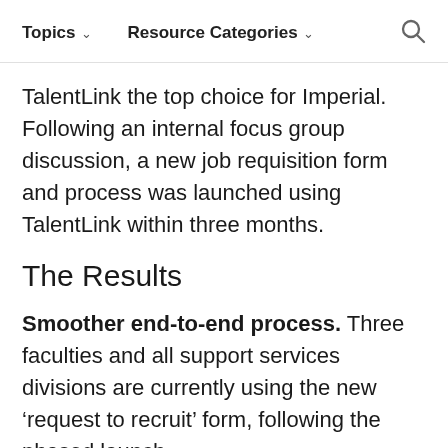Topics ˅   Resource Categories ˅   🔍
TalentLink the top choice for Imperial. Following an internal focus group discussion, a new job requisition form and process was launched using TalentLink within three months.
The Results
Smoother end-to-end process. Three faculties and all support services divisions are currently using the new 'request to recruit' form, following the phased launch,